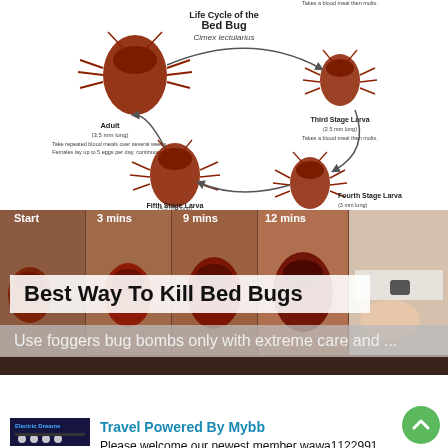[Figure (illustration): Life Cycle of the Bed Bug (Cimex lectularius) diagram showing Adult, Third Stage Larva, Fourth Stage Larva, Fifth Stage Larva with arrows and descriptions of each stage]
[Figure (photo): Banner image showing bed bug feeding progression at Start, 3 mins, 9 mins, 12 mins with a hand on mattress on right side]
Best Way To Kill Bed Bugs
Use foggers bug bombs only with extreme care and ...
Trending This Week
[Figure (screenshot): Thumbnail of Electric Dreams forum/website screenshot]
Travel Powered By Mybb
Please welcome our newest member wawa1122991.